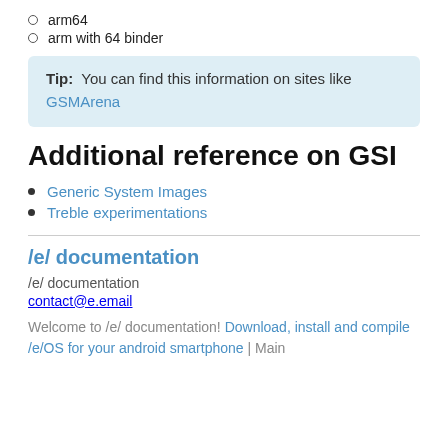arm64
arm with 64 binder
Tip: You can find this information on sites like GSMArena
Additional reference on GSI
Generic System Images
Treble experimentations
/e/ documentation
/e/ documentation
contact@e.email
Welcome to /e/ documentation! Download, install and compile /e/OS for your android smartphone | Main